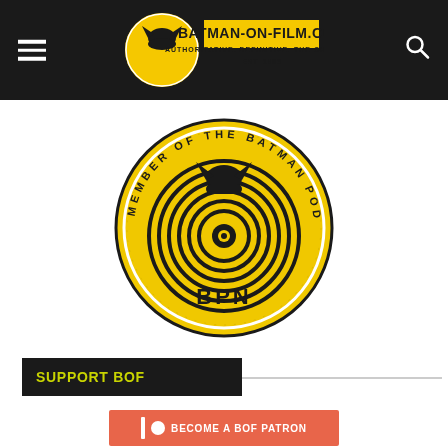BATMAN-ON-FILM.COM — AUTHORITATIVE. DEFINITIVE. THE ORIGINAL. EST. 1998
[Figure (logo): Batman Podcast Network (BPN) circular badge in yellow and black. Text around the rim reads MEMBER OF THE BATMAN PODCAST NETWORK. Center has concentric wifi-style arcs with a Batman cowl icon on top and BPN text at the bottom.]
SUPPORT BOF
[Figure (infographic): Patreon-style button with salmon/coral background reading BECOME A BOF PATRON with patreon icon elements (vertical bar and circle) on the left.]